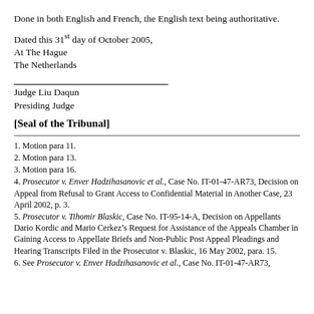Done in both English and French, the English text being authoritative.
Dated this 31st day of October 2005,
At The Hague
The Netherlands
Judge Liu Daqun
Presiding Judge
[Seal of the Tribunal]
1. Motion para 11.
2. Motion para 13.
3. Motion para 16.
4. Prosecutor v. Enver Hadzihasanovic et al., Case No. IT-01-47-AR73, Decision on Appeal from Refusal to Grant Access to Confidential Material in Another Case, 23 April 2002, p. 3.
5. Prosecutor v. Tihomir Blaskic, Case No. IT-95-14-A, Decision on Appellants Dario Kordic and Mario Cerkez’s Request for Assistance of the Appeals Chamber in Gaining Access to Appellate Briefs and Non-Public Post Appeal Pleadings and Hearing Transcripts Filed in the Prosecutor v. Blaskic, 16 May 2002, para. 15.
6. See Prosecutor v. Enver Hadzihasanovic et al., Case No. IT-01-47-AR73,